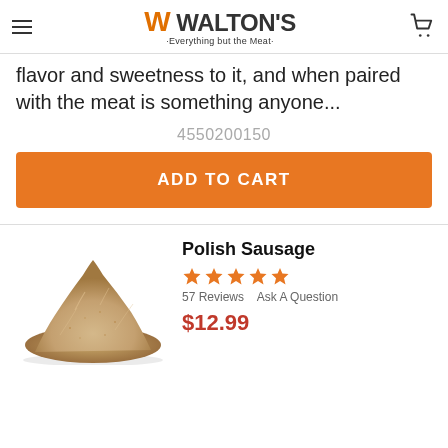Walton's — Everything but the Meat
flavor and sweetness to it, and when paired with the meat is something anyone...
4550200150
ADD TO CART
Polish Sausage
57 Reviews   Ask A Question
$12.99
[Figure (photo): Pile of ground seasoning spice, beige/tan color]